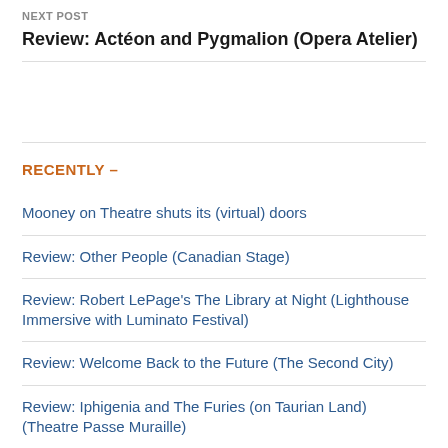NEXT POST
Review: Actéon and Pygmalion (Opera Atelier)
RECENTLY –
Mooney on Theatre shuts its (virtual) doors
Review: Other People (Canadian Stage)
Review: Robert LePage's The Library at Night (Lighthouse Immersive with Luminato Festival)
Review: Welcome Back to the Future (The Second City)
Review: Iphigenia and The Furies (on Taurian Land) (Theatre Passe Muraille)